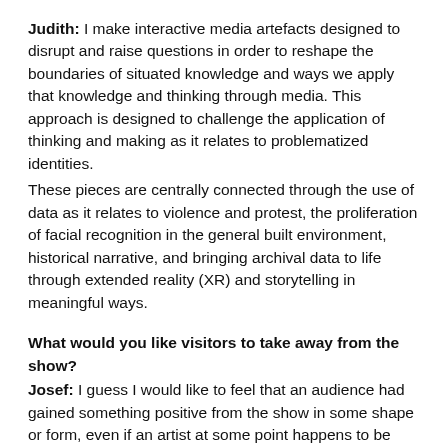Judith: I make interactive media artefacts designed to disrupt and raise questions in order to reshape the boundaries of situated knowledge and ways we apply that knowledge and thinking through media. This approach is designed to challenge the application of thinking and making as it relates to problematized identities. These pieces are centrally connected through the use of data as it relates to violence and protest, the proliferation of facial recognition in the general built environment, historical narrative, and bringing archival data to life through extended reality (XR) and storytelling in meaningful ways.
What would you like visitors to take away from the show?
Josef: I guess I would like to feel that an audience had gained something positive from the show in some shape or form, even if an artist at some point happens to be touching on something intrinsically uncomfortable. I hope people are able to interact and maybe even understand something new from seeing the work. I am not certain that I have ever seen a show